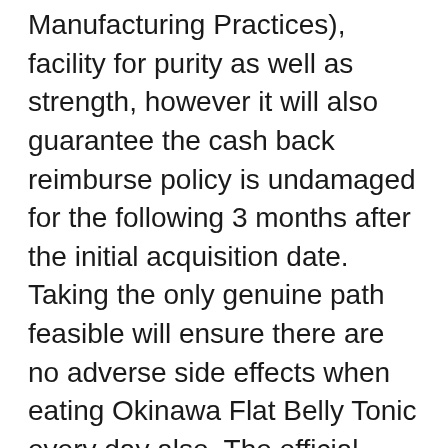Manufacturing Practices), facility for purity as well as strength, however it will also guarantee the cash back reimburse policy is undamaged for the following 3 months after the initial acquisition date. Taking the only genuine path feasible will ensure there are no adverse side effects when eating Okinawa Flat Belly Tonic every day also. The official vendor platform for Okinawa Flat Belly Tonic is Clickbank, one of one of the most respectable marketplaces in the world that has been in business for well over a years taking place 2 and also is an easy to use, customer-centric firm that always honors the money back warranty as well as reimbursement plan of the products distributed. The 90-day reimbursement plan for Okinawa Flat Belly Tonic allows for